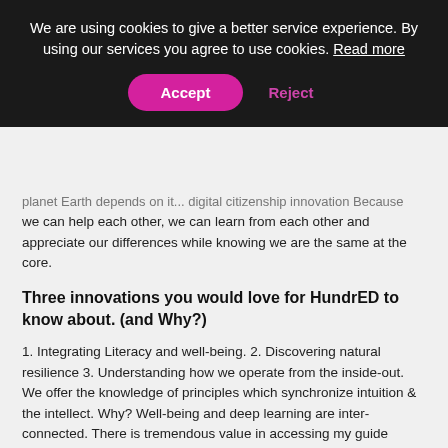We are using cookies to give a better service experience. By using our services you agree to use cookies. Read more
planet Earth depends on it...  digital citizenship  innovation  Because we can help each other, we can learn from each other and appreciate our differences while knowing we are the same at the core.
Three innovations you would love for HundrED to know about. (and Why?)
1. Integrating Literacy and well-being. 2. Discovering natural resilience 3. Understanding how we operate from the inside-out. We offer the knowledge of principles which synchronize intuition & the intellect. Why? Well-being and deep learning are inter-connected. There is tremendous value in accessing my guide inside: knowing myself and understanding my world! #SEL #compassion #literacy